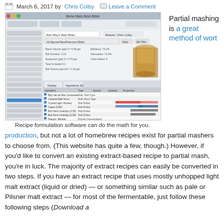March 6, 2017 by Chris Colby   Leave a Comment
[Figure (screenshot): Screenshot of recipe formulation software showing Beer Smith with a recipe called 'Bob May's Best Bitter'. The interface shows ingredient lists, mash settings, and at the bottom a style comparison chart with colored bars for Original Gravity, Terminal Gravity, Color, Alcohol, and Bitterness ranges. A glass of amber beer is visible in the top right of the software window.]
Recipe formulation software can do the math for you.
Partial mashing is a great method of wort production, but not a lot of homebrew recipes exist for partial mashers to choose from. (This website has quite a few, though.) However, if you’d like to convert an existing extract-based recipe to partial mash, you’re in luck. The majority of extract recipes can easily be converted in two steps. If you have an extract recipe that uses mostly unhopped light malt extract (liquid or dried) — or something similar such as pale or Pilsner malt extract — for most of the fermentable, just follow these following steps (Download a